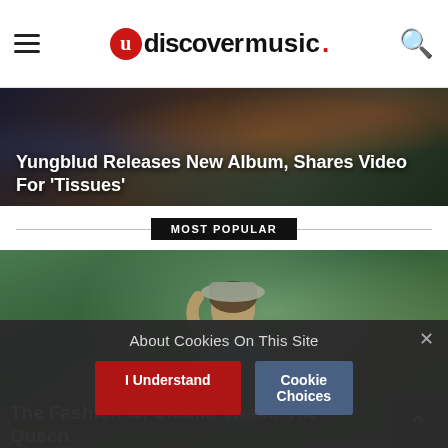udiscovermusic.
[Figure (photo): Concert/crowd background photo with text overlay: Yungblud Releases New Album, Shares Video For 'Tissues']
Yungblud Releases New Album, Shares Video For ‘Tissues’
MOST POPULAR
[Figure (photo): Photo of Shania Twain outdoors wearing a hat, with text overlay: The Fashion Of Shania Twain: The Queen]
The Fashion Of Shania Twain: The Queen
About Cookies On This Site
I Understand
Cookie Choices